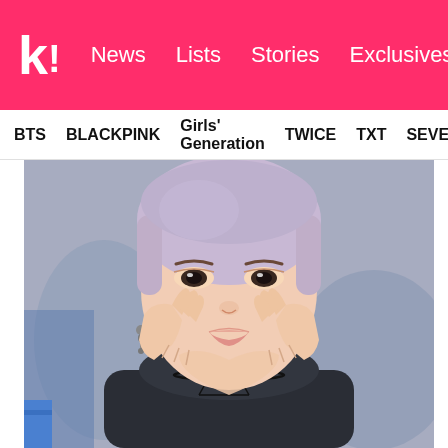k! | News | Lists | Stories | Exclusives
BTS | BLACKPINK | Girls' Generation | TWICE | TXT | SEVE
[Figure (photo): Close-up photo of a young person with lavender/light purple hair making a heart shape with their hands in front of their face. They are wearing a dark denim jacket with a choker necklace and earring. The background is blurred grey/blue.]